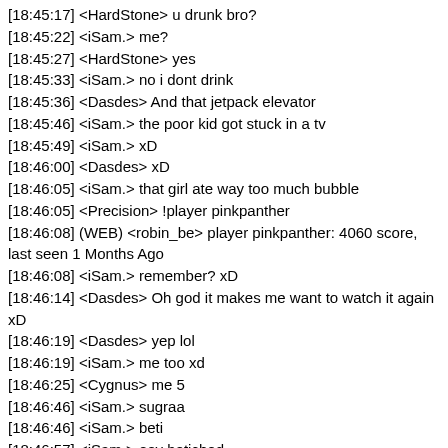[18:45:17] <HardStone> u drunk bro?
[18:45:22] <iSam.> me?
[18:45:27] <HardStone> yes
[18:45:33] <iSam.> no i dont drink
[18:45:36] <Dasdes> And that jetpack elevator
[18:45:46] <iSam.> the poor kid got stuck in a tv
[18:45:49] <iSam.> xD
[18:46:00] <Dasdes> xD
[18:46:05] <iSam.> that girl ate way too much bubble
[18:46:05] <Precision> !player pinkpanther
[18:46:08] (WEB) <robin_be> player pinkpanther: 4060 score, last seen 1 Months Ago
[18:46:08] <iSam.> remember? xD
[18:46:14] <Dasdes> Oh god it makes me want to watch it again xD
[18:46:19] <Dasdes> yep lol
[18:46:19] <iSam.> me too xd
[18:46:25] <Cygnus> me 5
[18:46:46] <iSam.> sugraa
[18:46:46] <iSam.> beti
[18:46:57] <iSam.> oey betichod
[18:47:05] <iSam.> tameez se han
[18:47:05] <HardStone> precision bula rha h tereko sam
[18:47:19] <iSam.> not precision
[18:47:19] <Precision> huh?